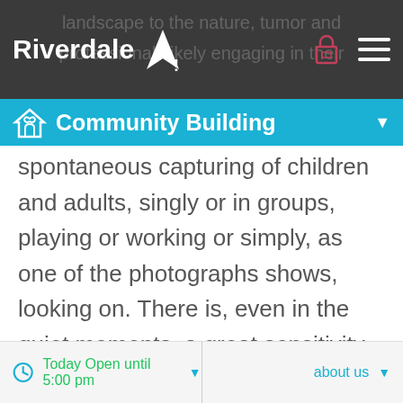Riverdale Y! — Community Building
Community Building
spontaneous capturing of children and adults, singly or in groups, playing or working or simply, as one of the photographs shows, looking on. There is, even in the quiet moments, a great sensitivity to inner movement and awareness. The entire oeuvre breathes humanism and caring and suggests it is the work of an artist embodying those values, as indeed it was, given his own moviemaking output and his social and
Today Open until 5:00 pm   about us